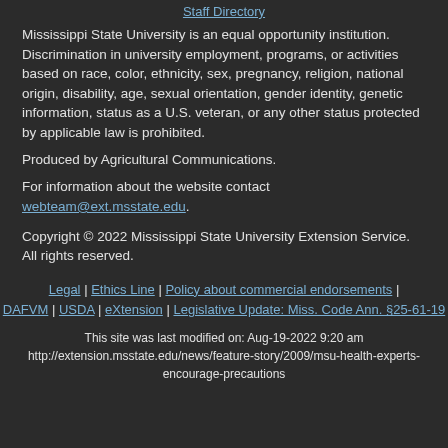Staff Directory
Mississippi State University is an equal opportunity institution. Discrimination in university employment, programs, or activities based on race, color, ethnicity, sex, pregnancy, religion, national origin, disability, age, sexual orientation, gender identity, genetic information, status as a U.S. veteran, or any other status protected by applicable law is prohibited.
Produced by Agricultural Communications.
For information about the website contact webteam@ext.msstate.edu.
Copyright © 2022 Mississippi State University Extension Service. All rights reserved.
Legal | Ethics Line | Policy about commercial endorsements | DAFVM | USDA | eXtension | Legislative Update: Miss. Code Ann. §25-61-19
This site was last modified on: Aug-19-2022 9:20 am
http://extension.msstate.edu/news/feature-story/2009/msu-health-experts-encourage-precautions